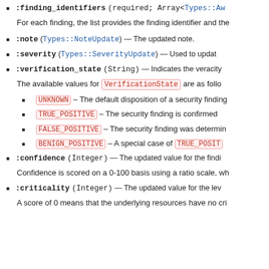:finding_identifiers (required, Array<Types::Aw — For each finding, the list provides the finding identifier and the
:note (Types::NoteUpdate) — The updated note.
:severity (Types::SeverityUpdate) — Used to update
:verification_state (String) — Indicates the veracity
The available values for VerificationState are as follo
UNKNOWN – The default disposition of a security finding
TRUE_POSITIVE – The security finding is confirmed
FALSE_POSITIVE – The security finding was determin
BENIGN_POSITIVE – A special case of TRUE_POSIT
:confidence (Integer) — The updated value for the findi
Confidence is scored on a 0-100 basis using a ratio scale, wh
:criticality (Integer) — The updated value for the lev
A score of 0 means that the underlying resources have no cri